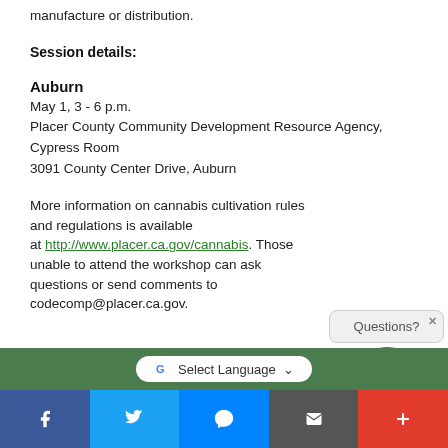manufacture or distribution.
Session details:
Auburn
May 1, 3 - 6 p.m.
Placer County Community Development Resource Agency, Cypress Room
3091 County Center Drive, Auburn
More information on cannabis cultivation rules and regulations is available at http://www.placer.ca.gov/cannabis. Those unable to attend the workshop can ask questions or send comments to codecomp@placer.ca.gov.
[Figure (other): Questions? Ask widget with speech bubble icon]
[Figure (other): Google Translate Select Language bar with green background]
[Figure (other): Social sharing bar with Facebook, Twitter, Messenger, Email, and More buttons]